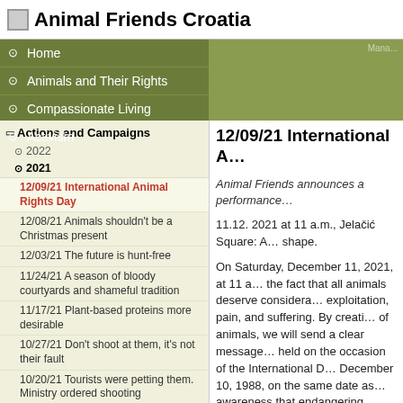Animal Friends Croatia
Home
Animals and Their Rights
Compassionate Living
Activism
Actions and Campaigns
2022
2021
12/09/21 International Animal Rights Day
12/08/21 Animals shouldn't be a Christmas present
12/03/21 The future is hunt-free
11/24/21 A season of bloody courtyards and shameful tradition
11/17/21 Plant-based proteins more desirable
10/27/21 Don't shoot at them, it's not their fault
10/20/21 Tourists were petting them. Ministry ordered shooting
12/09/21 International A…
Animal Friends announces a performance…
11.12. 2021 at 11 a.m., Jelačić Square: A… shape.
On Saturday, December 11, 2021, at 11 a… the fact that all animals deserve considera… exploitation, pain, and suffering. By creati… of animals, we will send a clear message… held on the occasion of the International D… December 10, 1988, on the same date as… awareness that endangering animal rights…
Just like us, animals have family, best frie…